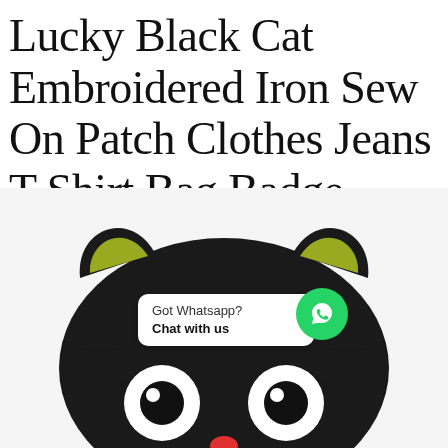Lucky Black Cat Embroidered Iron Sew On Patch Clothes Jeans T Shirt Bag Badge
[Figure (photo): A black embroidered iron-on patch shaped like a black cat face with yellow-green inner ear markings, large white and black circular eyes, and a small red nose. A WhatsApp chat widget overlay is visible on the patch with text 'Got Whatsapp? Chat with us' and a green WhatsApp icon button.]